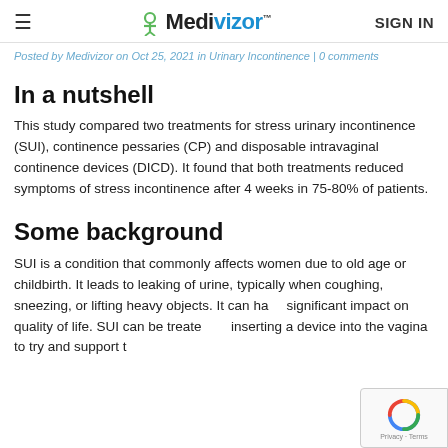≡  Medivizor™  SIGN IN
Posted by Medivizor on Oct 25, 2021 in Urinary Incontinence | 0 comments
In a nutshell
This study compared two treatments for stress urinary incontinence (SUI), continence pessaries (CP) and disposable intravaginal continence devices (DICD). It found that both treatments reduced symptoms of stress incontinence after 4 weeks in 75-80% of patients.
Some background
SUI is a condition that commonly affects women due to old age or childbirth. It leads to leaking of urine, typically when coughing, sneezing, or lifting heavy objects. It can have significant impact on quality of life. SUI can be treated by inserting a device into the vagina to try and support the…